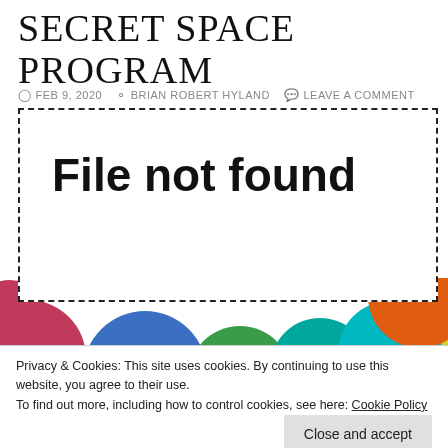SECRET SPACE PROGRAM
FEB 9, 2020   BRIAN ROBERT HYLAND   LEAVE A COMMENT
[Figure (screenshot): File not found error page with dashed border and colorful circles at the bottom]
Privacy & Cookies: This site uses cookies. By continuing to use this website, you agree to their use.
To find out more, including how to control cookies, see here: Cookie Policy
transition began in top secret US Air Force programs over 75 years